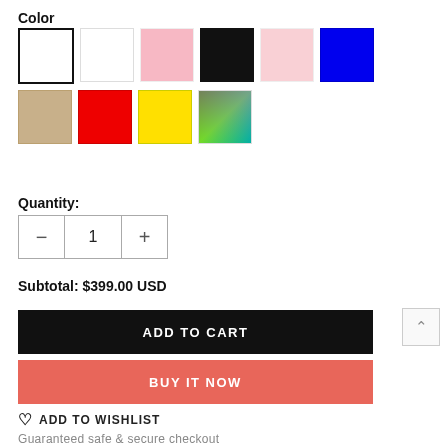Color
[Figure (other): Color swatches: white (selected with bold border), white, light pink, black, lighter pink, blue, tan/beige, red, yellow, multicolor gradient]
Quantity:
— 1 +
Subtotal:  $399.00 USD
ADD TO CART
BUY IT NOW
ADD TO WISHLIST
Guaranteed safe & secure checkout